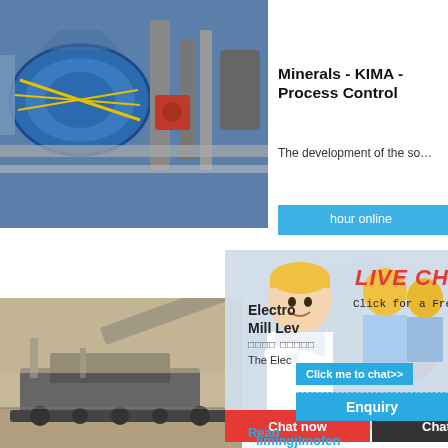[Figure (photo): Industrial machinery with blue cylindrical rolls and pipes in a processing plant]
Minerals - KIMA - Process Control
The development of the so...
[Figure (photo): Live chat popup with smiling female worker in white shirt and colleagues in yellow hard hats behind. Text: LIVE CHAT, Click for a Free Consultation, Chat now, Chat later]
[Figure (photo): Heavy mining machinery / conveyor on ground]
[Figure (photo): Industrial crusher machine, grey metallic box with red wheel]
hour online
Electro Mill Lev
□□□□ □□□□□
The Elec...
Click me to chat>>
Enquiry
Read
limingjlmofen